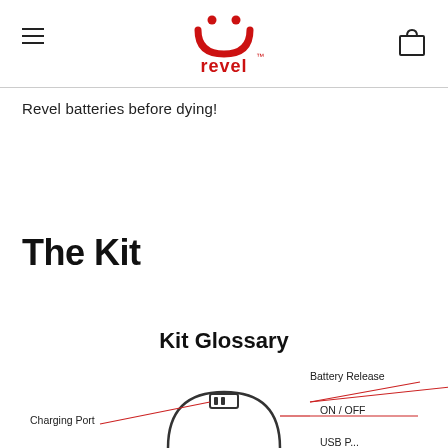revel
Revel batteries before dying!
The Kit
Kit Glossary
[Figure (engineering-diagram): Partial diagram of a Revel device showing labeled parts: Battery Release, ON/OFF, Charging Port, and a partially visible USB port label. Red leader lines point to parts of the device.]